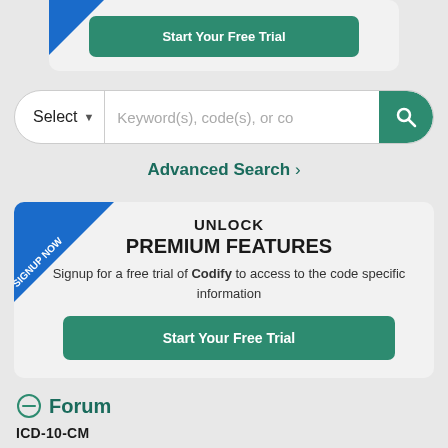[Figure (screenshot): Start Your Free Trial button at the top of the page inside a card with a blue corner ribbon]
[Figure (screenshot): Search bar with Select dropdown, keyword input field, and green search icon button]
Advanced Search >
[Figure (infographic): Unlock Premium Features card with blue SIGNUP NOW corner ribbon, description text, and Start Your Free Trial button]
Forum
ICD-10-CM